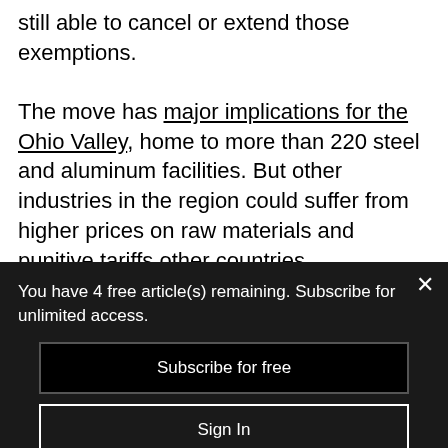still able to cancel or extend those exemptions.
The move has major implications for the Ohio Valley, home to more than 220 steel and aluminum facilities. But other industries in the region could suffer from higher prices on raw materials and punitive tariffs other countries
You have 4 free article(s) remaining. Subscribe for unlimited access.
Subscribe for free
Sign In